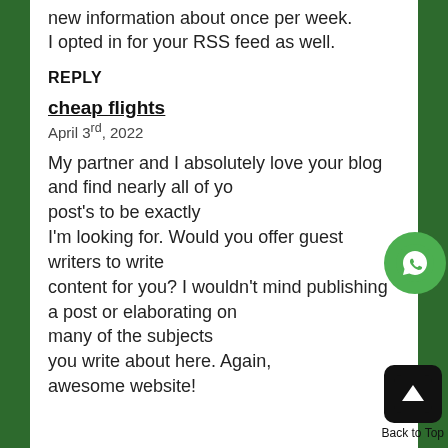new information about once per week.
I opted in for your RSS feed as well.
REPLY
cheap flights
April 3rd, 2022
My partner and I absolutely love your blog and find nearly all of your post's to be exactly I'm looking for. Would you offer guest writers to write content for you? I wouldn't mind publishing a post or elaborating on many of the subjects you write about here. Again, awesome website!
[Figure (other): WhatsApp contact button (green circle with WhatsApp icon)]
[Figure (other): Back to Top button (black rounded square with up arrow icon) with label 'Back to Top']